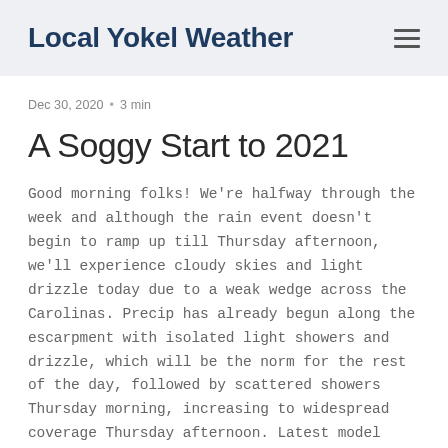Local Yokel Weather
Dec 30, 2020  •  3 min
A Soggy Start to 2021
Good morning folks! We're halfway through the week and although the rain event doesn't begin to ramp up till Thursday afternoon, we'll experience cloudy skies and light drizzle today due to a weak wedge across the Carolinas. Precip has already begun along the escarpment with isolated light showers and drizzle, which will be the norm for the rest of the day, followed by scattered showers Thursday morning, increasing to widespread coverage Thursday afternoon. Latest model runs